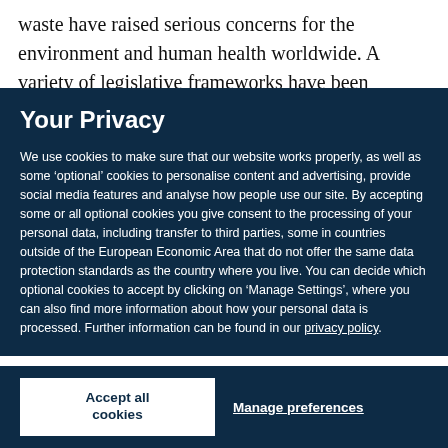waste have raised serious concerns for the environment and human health worldwide. A variety of legislative frameworks have been implemented to regulate e-waste
Your Privacy
We use cookies to make sure that our website works properly, as well as some ‘optional’ cookies to personalise content and advertising, provide social media features and analyse how people use our site. By accepting some or all optional cookies you give consent to the processing of your personal data, including transfer to third parties, some in countries outside of the European Economic Area that do not offer the same data protection standards as the country where you live. You can decide which optional cookies to accept by clicking on ‘Manage Settings’, where you can also find more information about how your personal data is processed. Further information can be found in our privacy policy.
Accept all cookies
Manage preferences